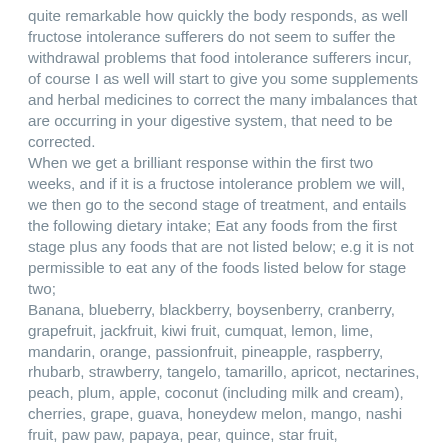quite remarkable how quickly the body responds, as well fructose intolerance sufferers do not seem to suffer the withdrawal problems that food intolerance sufferers incur, of course I as well will start to give you some supplements and herbal medicines to correct the many imbalances that are occurring in your digestive system, that need to be corrected.
When we get a brilliant response within the first two weeks, and if it is a fructose intolerance problem we will, we then go to the second stage of treatment, and entails the following dietary intake; Eat any foods from the first stage plus any foods that are not listed below; e.g it is not permissible to eat any of the foods listed below for stage two;
Banana, blueberry, blackberry, boysenberry, cranberry, grapefruit, jackfruit, kiwi fruit, cumquat, lemon, lime, mandarin, orange, passionfruit, pineapple, raspberry, rhubarb, strawberry, tangelo, tamarillo, apricot, nectarines, peach, plum, apple, coconut (including milk and cream), cherries, grape, guava, honeydew melon, mango, nashi fruit, paw paw, papaya, pear, quince, star fruit, watermelon, fruit juice, fruit juice concentrate, dried fruit